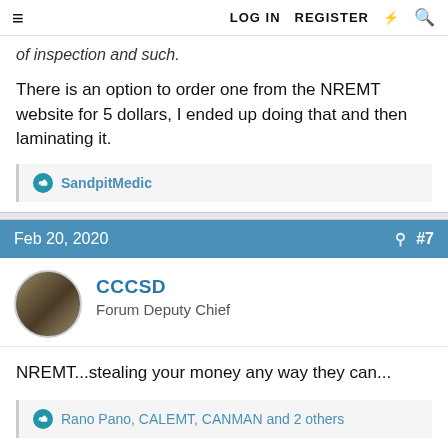≡  LOG IN  REGISTER  ⚡  🔍
of inspection and such.
There is an option to order one from the NREMT website for 5 dollars, I ended up doing that and then laminating it.
👍 SandpitMedic
Feb 20, 2020  #7
CCCSD
Forum Deputy Chief
NREMT...stealing your money any way they can...
👍 Rano Pano, CALEMT, CANMAN and 2 others